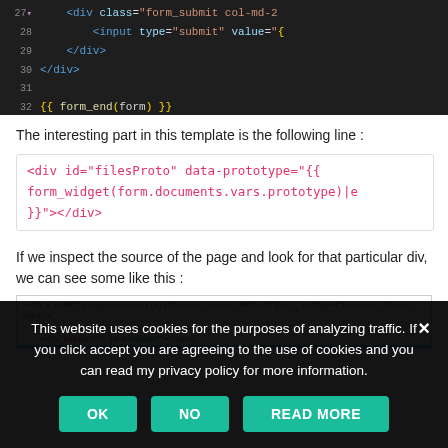[Figure (screenshot): Code editor screenshot showing lines 27-32 of a template file with HTML and Twig syntax on dark background. Lines show: <div class="form_submit col-md-2", <input type="submit" value="{", </div>, </div>, (blank), {{ form_end(form) }}]
The interesting part in this template is the following line :
<div id="filesProto" data-prototype="{{ form_widget(form.documents.vars.prototype)|e }}"></div>
If we inspect the source of the page and look for that particular div, we can see some like this :
[Figure (screenshot): Browser source code screenshot showing HTML form markup with attributes: form name='playground_cookiejarbundle_folder' method='post' enctype='multipart/form-data', div class='row form-group', div class='hr line-dashed', and a highlighted line below.]
This website uses cookies for the purposes of analyzing traffic. If you click accept you are agreeing to the use of cookies and you can read my privacy policy for more information.